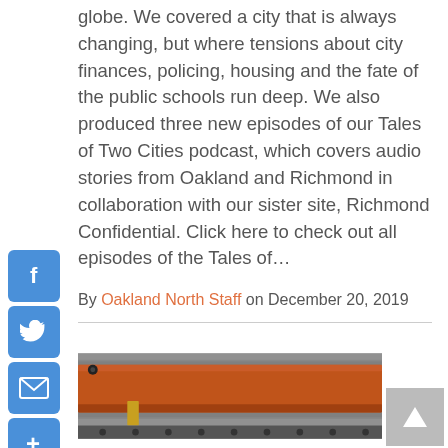globe. We covered a city that is always changing, but where tensions about city finances, policing, housing and the fate of the public schools run deep. We also produced three new episodes of our Tales of Two Cities podcast, which covers audio stories from Oakland and Richmond in collaboration with our sister site, Richmond Confidential. Click here to check out all episodes of the Tales of…
By Oakland North Staff on December 20, 2019
[Figure (photo): Photo of an orange wooden plank or beam with construction materials, screws or bolts visible, on a corrugated metal surface.]